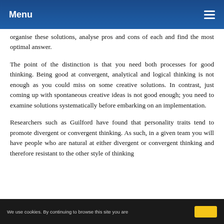Menu
organise these solutions, analyse pros and cons of each and find the most optimal answer.
The point of the distinction is that you need both processes for good thinking. Being good at convergent, analytical and logical thinking is not enough as you could miss on some creative solutions. In contrast, just coming up with spontaneous creative ideas is not good enough; you need to examine solutions systematically before embarking on an implementation.
Researchers such as Guilford have found that personality traits tend to promote divergent or convergent thinking. As such, in a given team you will have people who are natural at either divergent or convergent thinking and therefore resistant to the other style of thinking
We use cookies. By continuing to browse this site you are